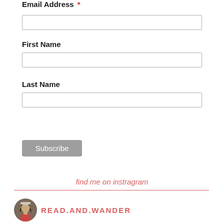Email Address *
(email input field)
First Name
(first name input field)
Last Name
(last name input field)
Subscribe
find me on instragram
[Figure (photo): Circular profile photo of a person with dark curly hair]
READ.AND.WANDER